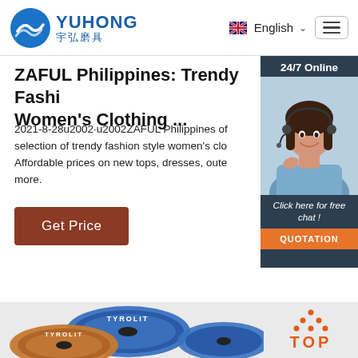[Figure (logo): Yuhong logo with blue wave icon, English text YUHONG and Chinese characters 宇弘磨具]
[Figure (infographic): Navigation header with English language selector and hamburger menu]
ZAFUL Philippines: Trendy Fashion Women's Clothing ...
2021-8-28u2002·u2002ZAFUL Philippines of selection of trendy fashion style women's clo Affordable prices on new tops, dresses, oute more.
[Figure (infographic): Get Price button in dark red/brown color]
[Figure (photo): Side panel with 24/7 Online text, photo of female customer service agent with headset, Click here for free chat! text, and QUOTATION button in orange]
[Figure (photo): Bottom section showing TYROLIT branded abrasive grinding discs in blue and orange/bronze colors, with TOP navigation button on the right]